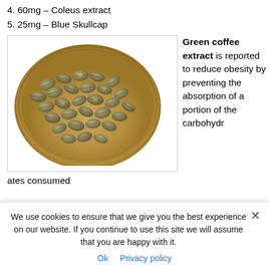4. 60mg – Coleus extract
5. 25mg – Blue Skullcap
[Figure (photo): Green coffee beans in a wooden bowl, viewed from above]
Green coffee extract is reported to reduce obesity by preventing the absorption of a portion of the carbohydrates consumed
ates consumed
We use cookies to ensure that we give you the best experience on our website. If you continue to use this site we will assume that you are happy with it.
Ok   Privacy policy